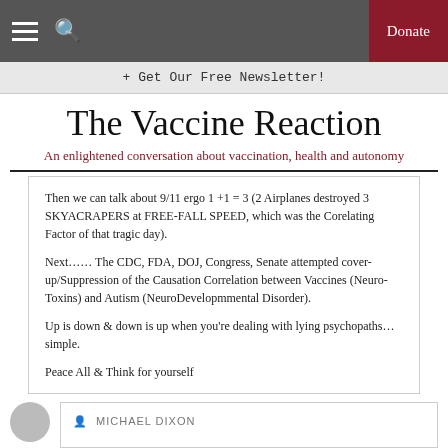The Vaccine Reaction — navigation bar with hamburger, search, and Donate button
+ Get Our Free Newsletter!
The Vaccine Reaction
An enlightened conversation about vaccination, health and autonomy
Then we can talk about 9/11 ergo 1 +1 = 3 (2 Airplanes destroyed 3 SKYACRAPERS at FREE-FALL SPEED, which was the Corelating Factor of that tragic day).

Next…… The CDC, FDA, DOJ, Congress, Senate attempted cover-up/Suppression of the Causation Correlation between Vaccines (Neuro-Toxins) and Autism (NeuroDevelopmmental Disorder).

Up is down & down is up when you're dealing with lying psychopaths…simple.

Peace All & Think for yourself
MICHAEL DIXON